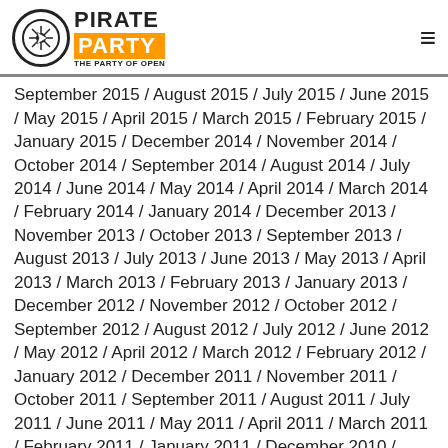PIRATE PARTY — THE PARTY OF OPEN
September 2015 / August 2015 / July 2015 / June 2015 / May 2015 / April 2015 / March 2015 / February 2015 / January 2015 / December 2014 / November 2014 / October 2014 / September 2014 / August 2014 / July 2014 / June 2014 / May 2014 / April 2014 / March 2014 / February 2014 / January 2014 / December 2013 / November 2013 / October 2013 / September 2013 / August 2013 / July 2013 / June 2013 / May 2013 / April 2013 / March 2013 / February 2013 / January 2013 / December 2012 / November 2012 / October 2012 / September 2012 / August 2012 / July 2012 / June 2012 / May 2012 / April 2012 / March 2012 / February 2012 / January 2012 / December 2011 / November 2011 / October 2011 / September 2011 / August 2011 / July 2011 / June 2011 / May 2011 / April 2011 / March 2011 / February 2011 / January 2011 / December 2010 / November 2010 / October 2010 / September 2010 /